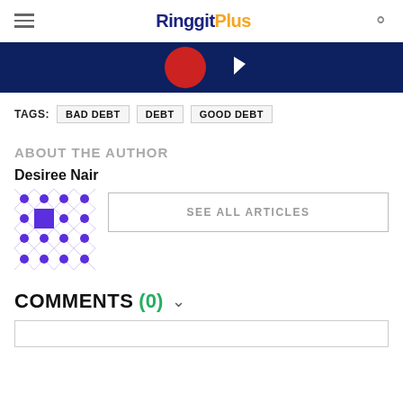RinggitPlus
[Figure (illustration): Dark blue banner with red circle and white cursor arrow icon]
TAGS: BAD DEBT   DEBT   GOOD DEBT
ABOUT THE AUTHOR
Desiree Nair
[Figure (illustration): Purple and white geometric pattern avatar for Desiree Nair]
SEE ALL ARTICLES
COMMENTS (0)